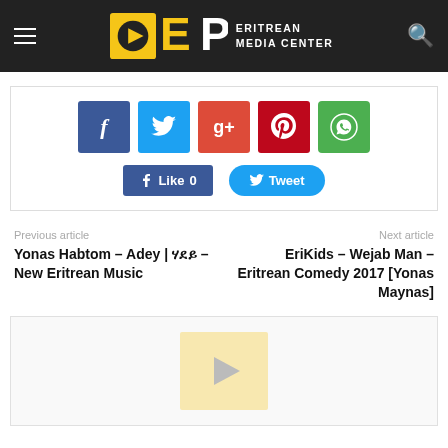Eritrean Media Center
[Figure (other): Social media share buttons: Facebook, Twitter, Google+, Pinterest, WhatsApp, Like 0, Tweet]
Previous article
Yonas Habtom – Adey | ሃደይ – New Eritrean Music
Next article
EriKids – Wejab Man – Eritrean Comedy 2017 [Yonas Maynas]
[Figure (other): Video placeholder with play button icon on yellow/cream background]